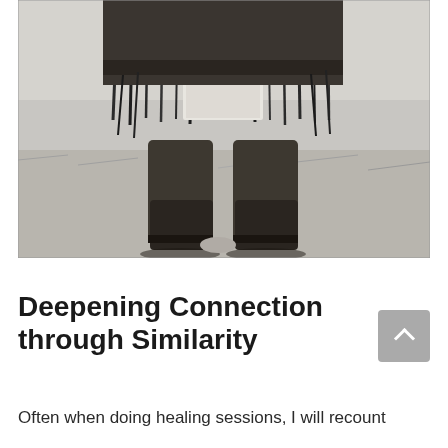[Figure (photo): Black and white photograph showing the lower body of a person wearing traditional Native American fringed regalia and moccasin boots, standing on grass.]
Deepening Connection through Similarity
Often when doing healing sessions, I will recount